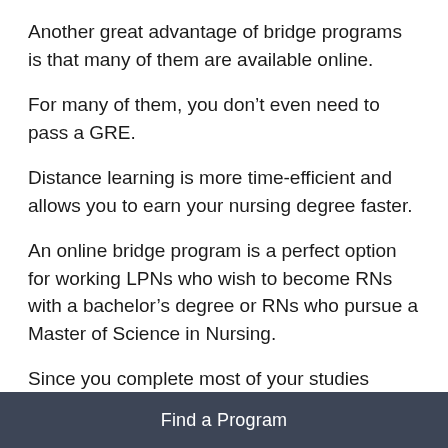Another great advantage of bridge programs is that many of them are available online.
For many of them, you don’t even need to pass a GRE.
Distance learning is more time-efficient and allows you to earn your nursing degree faster.
An online bridge program is a perfect option for working LPNs who wish to become RNs with a bachelor’s degree or RNs who pursue a Master of Science in Nursing.
Since you complete most of your studies online,
Find a Program